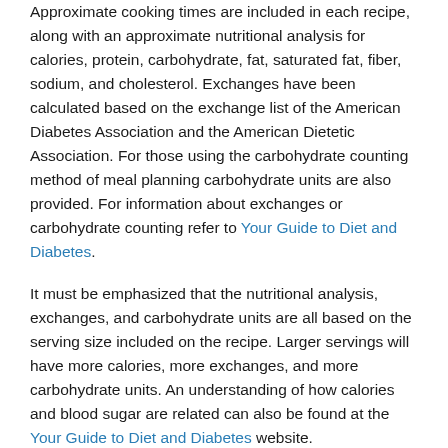Approximate cooking times are included in each recipe, along with an approximate nutritional analysis for calories, protein, carbohydrate, fat, saturated fat, fiber, sodium, and cholesterol. Exchanges have been calculated based on the exchange list of the American Diabetes Association and the American Dietetic Association. For those using the carbohydrate counting method of meal planning carbohydrate units are also provided. For information about exchanges or carbohydrate counting refer to Your Guide to Diet and Diabetes.
It must be emphasized that the nutritional analysis, exchanges, and carbohydrate units are all based on the serving size included on the recipe. Larger servings will have more calories, more exchanges, and more carbohydrate units. An understanding of how calories and blood sugar are related can also be found at the Your Guide to Diet and Diabetes website.
Many of the recipes contain sugar substitutes. To learn more about sugar substitutes refer to What are artificial or non-nutritive sweeteners?; and to learn more about sugar substitutes and